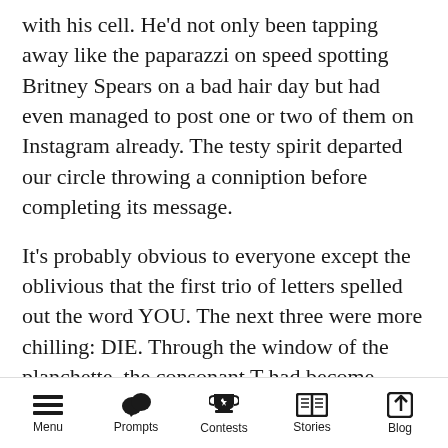with his cell. He'd not only been tapping away like the paparazzi on speed spotting Britney Spears on a bad hair day but had even managed to post one or two of them on Instagram already. The testy spirit departed our circle throwing a conniption before completing its message.
It's probably obvious to everyone except the oblivious that the first trio of letters spelled out the word YOU. The next three were more chilling: DIE. Through the window of the planchette, the consonant T had become clearly visible. Then poof! Spirit takes umbrage; not with the pix but with the asshat's Instagram posts. Well. excuuussse me! Was the T going to be the
Menu   Prompts   Contests   Stories   Blog